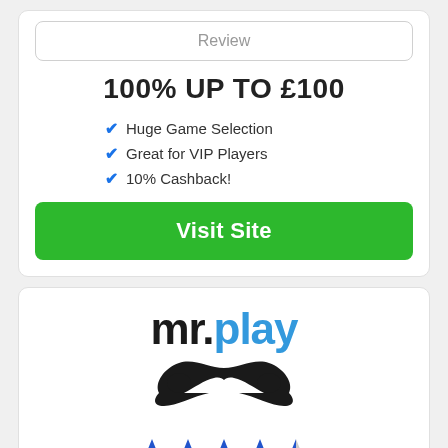Review
100% UP TO £100
Huge Game Selection
Great for VIP Players
10% Cashback!
Visit Site
[Figure (logo): mr.play casino logo with mustache icon]
[Figure (other): 4.5 out of 5 blue star rating]
Review